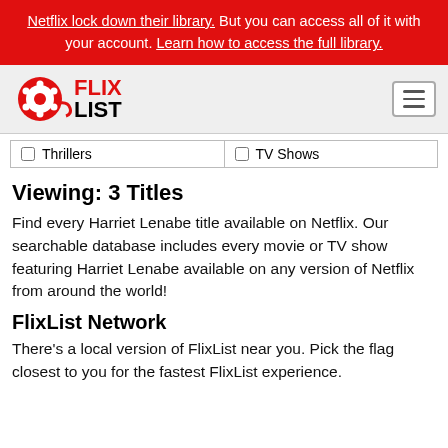Netflix lock down their library. But you can access all of it with your account. Learn how to access the full library.
[Figure (logo): FlixList logo with red film reel icon and FLIXLIST text]
Thrillers  TV Shows
Viewing: 3 Titles
Find every Harriet Lenabe title available on Netflix. Our searchable database includes every movie or TV show featuring Harriet Lenabe available on any version of Netflix from around the world!
FlixList Network
There's a local version of FlixList near you. Pick the flag closest to you for the fastest FlixList experience.